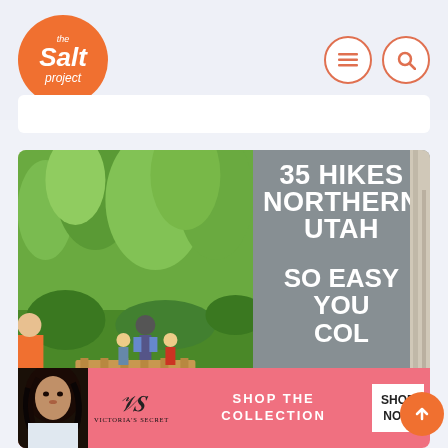[Figure (logo): The Salt Project logo: orange circle with white italic text reading 'the salt project']
[Figure (screenshot): Website header with navigation menu icon (hamburger) and search icon in orange-bordered circles on light blue-gray background]
[Figure (photo): Composite image: left half shows hikers on forest trail with green trees, right half shows gray overlay with white bold text '35 HIKES NORTHERN UTAH SO EASY YOU COL...' and a CLOSE button. Bottom shows Victoria's Secret advertisement banner with pink background, model photo, VS logo, 'SHOP THE COLLECTION' text and 'SHOP NOW' white button. Orange scroll-up arrow button visible at bottom right.]